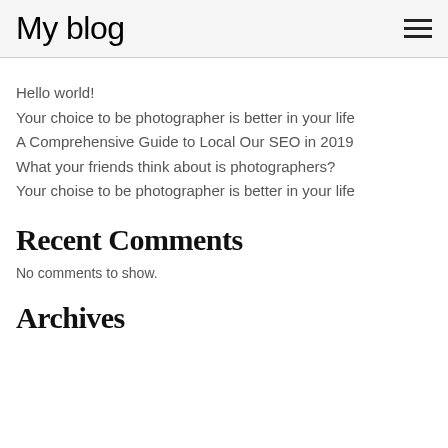My blog
Hello world!
Your choice to be photographer is better in your life
A Comprehensive Guide to Local Our SEO in 2019
What your friends think about is photographers?
Your choise to be photographer is better in your life
Recent Comments
No comments to show.
Archives